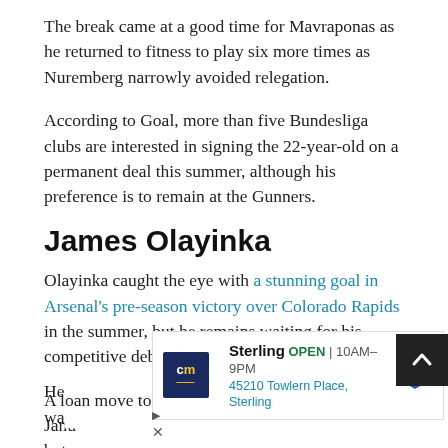The break came at a good time for Mavraponas as he returned to fitness to play six more times as Nuremberg narrowly avoided relegation.
According to Goal, more than five Bundesliga clubs are interested in signing the 22-year-old on a permanent deal this summer, although his preference is to remain at the Gunners.
James Olayinka
Olayinka caught the eye with a stunning goal in Arsenal's pre-season victory over Colorado Rapids in the summer, but he remains waiting for his competitive debut for the Gunners.
A loan move to Northampton Town was agreed in January, but the ... w... before...
[Figure (other): Advertisement overlay: Sterling store, OPEN 10AM-9PM, 45210 Towlern Place, Sterling, with navigation icon]
He wa... nton's